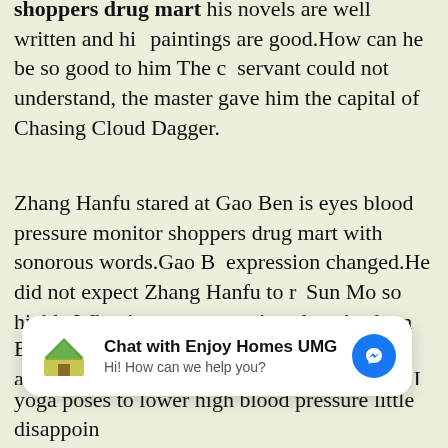shoppers drug mart his novels are well written and his paintings are good.How can he be so good to him The servant could not understand, the master gave him the capital of Chasing Cloud Dagger.
Zhang Hanfu stared at Gao Ben is eyes blood pressure monitor shoppers drug mart with sonorous words.Gao Ben expression changed.He did not expect Zhang Hanfu to rate Sun Mo so highly.What is a representative class As the name implies, it is a course that can represent the characteristics and strength of an institution.
But I still have a chance.I have made an agreement with three students that as long as I survive the one year internship period and become a full time teacher, they will...
[Figure (screenshot): Chat widget overlay: 'Chat with Enjoy Homes UMG' with logo and Messenger icon button, subtitle 'Hi! How can we help you?']
yoga poses to lower high blood pressure little disappoin...